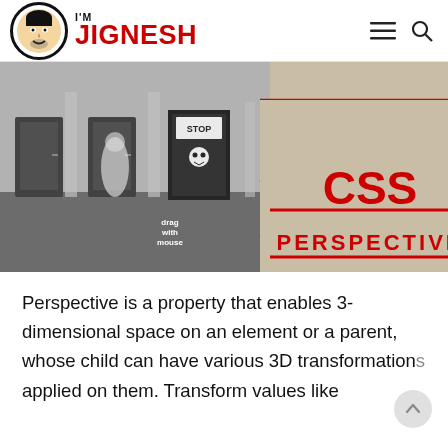I'M JIGNESH
[Figure (illustration): CSS Perspective banner image showing a black-and-white hallway scene on the left and red perspective lines converging to a vanishing point on the right, with large red bold text reading 'CSS PERSPECTIVE'. Small text reads 'drag with mouse'.]
Perspective is a property that enables 3-dimensional space on an element or a parent, whose child can have various 3D transformations applied on them. Transform values like